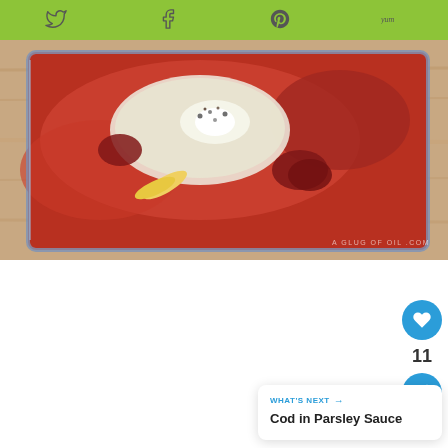Social share toolbar with Twitter, Facebook, Pinterest, Yummly icons
[Figure (photo): Baked fish (cod) in tomato sauce with peppers in a glass baking dish on wooden surface. Watermark: A GLUG OF OIL .COM]
[Figure (infographic): Social engagement sidebar: heart/like button (blue circle), count of 11, share button (blue circle)]
11
WHAT'S NEXT → Cod in Parsley Sauce